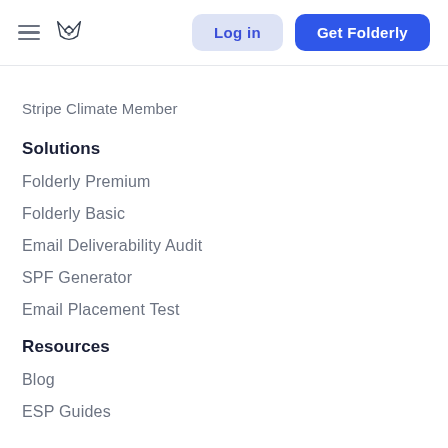Log in | Get Folderly
Stripe Climate Member
Solutions
Folderly Premium
Folderly Basic
Email Deliverability Audit
SPF Generator
Email Placement Test
Resources
Blog
ESP Guides